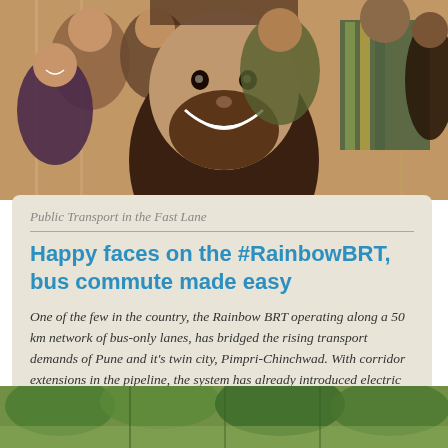[Figure (photo): Selfie photo of happy smiling people on a bus, crowded public transport, multiple passengers visible including a young man in the foreground and others behind him.]
Public Transport in the Fast Lane
Happy faces on the #RainbowBRT, bus commute made easy
One of the few in the country, the Rainbow BRT operating along a 50 km network of bus-only lanes, has bridged the rising transport demands of Pune and it's twin city, Pimpri-Chinchwad. With corridor extensions in the pipeline, the system has already introduced electric BRT buses!
[Figure (photo): Bottom strip photo showing trees/greenery, partial view of outdoor scene at bottom of page.]